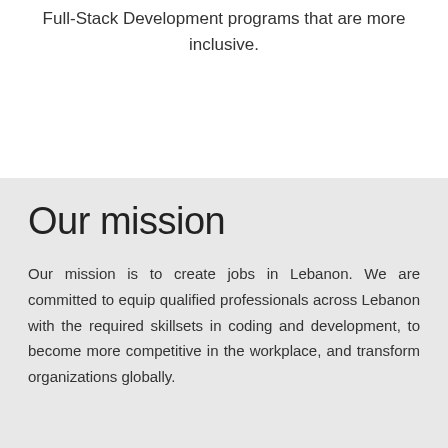Full-Stack Development programs that are more inclusive.
Our mission
Our mission is to create jobs in Lebanon. We are committed to equip qualified professionals across Lebanon with the required skillsets in coding and development, to become more competitive in the workplace, and transform organizations globally.